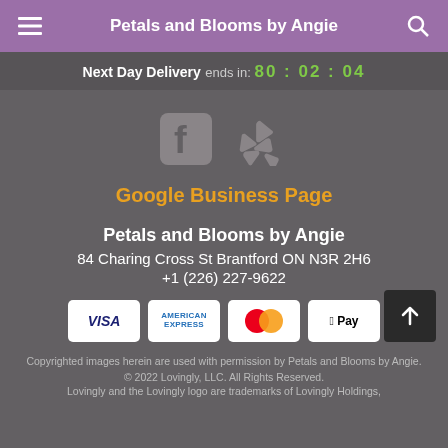Petals and Blooms by Angie
Next Day Delivery ends in: 80 : 02 : 04
[Figure (logo): Facebook icon and Yelp icon side by side in gray]
Google Business Page
Petals and Blooms by Angie
84 Charing Cross St Brantford ON N3R 2H6
+1 (226) 227-9622
[Figure (logo): Payment method logos: VISA, American Express, Mastercard, Apple Pay]
Copyrighted images herein are used with permission by Petals and Blooms by Angie.
© 2022 Lovingly, LLC. All Rights Reserved.
Lovingly and the Lovingly logo are trademarks of Lovingly Holdings,